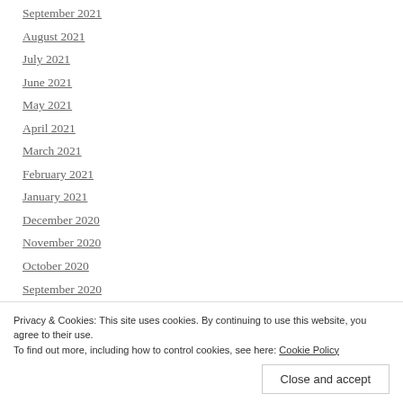September 2021
August 2021
July 2021
June 2021
May 2021
April 2021
March 2021
February 2021
January 2021
December 2020
November 2020
October 2020
September 2020
Privacy & Cookies: This site uses cookies. By continuing to use this website, you agree to their use.
To find out more, including how to control cookies, see here: Cookie Policy
Close and accept